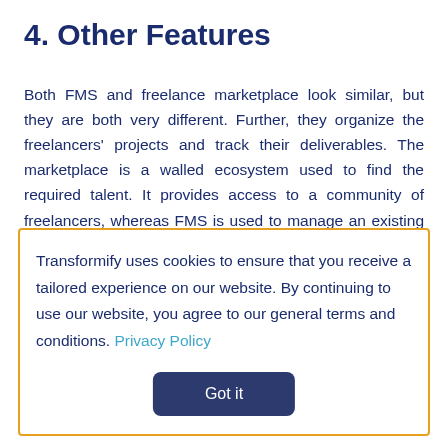4. Other Features
Both FMS and freelance marketplace look similar, but they are both very different. Further, they organize the freelancers' projects and track their deliverables. The marketplace is a walled ecosystem used to find the required talent. It provides access to a community of freelancers, whereas FMS is used to manage an existing freelance talent
Transformify uses cookies to ensure that you receive a tailored experience on our website. By continuing to use our website, you agree to our general terms and conditions. Privacy Policy
Got it